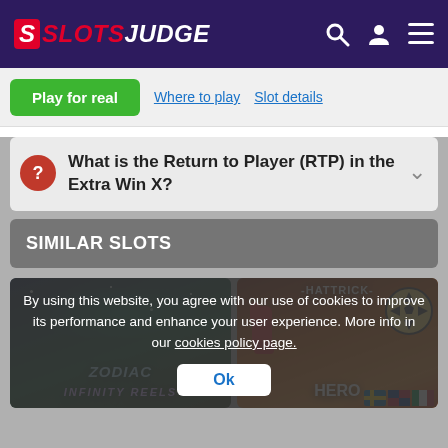SLOTS JUDGE
Play for real | Where to play | Slot details
What is the Return to Player (RTP) in the Extra Win X?
SIMILAR SLOTS
[Figure (screenshot): Two similar slot game thumbnails: left shows Zodiac Infinity Reels game with space/aurora theme; right shows Hattrick Hero soccer-themed game with foam finger and football.]
By using this website, you agree with our use of cookies to improve its performance and enhance your user experience. More info in our cookies policy page.